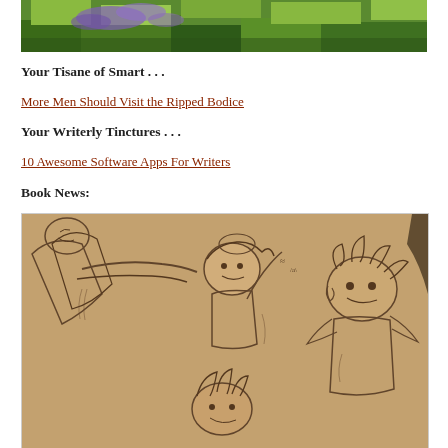[Figure (photo): Photograph of purple flowers and green foliage in a garden]
Your Tisane of Smart . . .
More Men Should Visit the Ripped Bodice
Your Writerly Tinctures . . .
10 Awesome Software Apps For Writers
Book News:
[Figure (illustration): Sepia-toned pencil sketch illustration of anime-style characters]